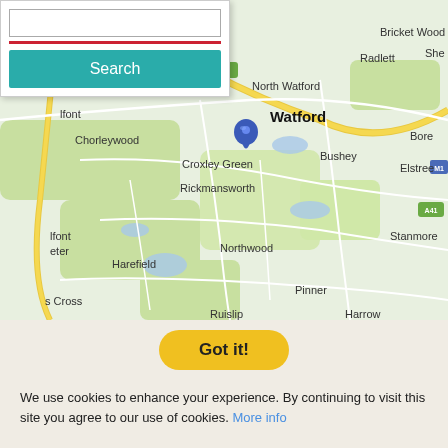[Figure (map): Google Maps screenshot showing the area around Watford, UK, including Chorleywood, Croxley Green, Rickmansworth, Northwood, Harefield, Bushey, Elstree, Stanmore, Pinner, Harrow, Ruislip, North Watford, Bricket Wood, Radlett. A blue map pin marker is placed near Croxley Green. The map has road overlays in yellow and white.]
Search
Got it!
We use cookies to enhance your experience. By continuing to visit this site you agree to our use of cookies. More info